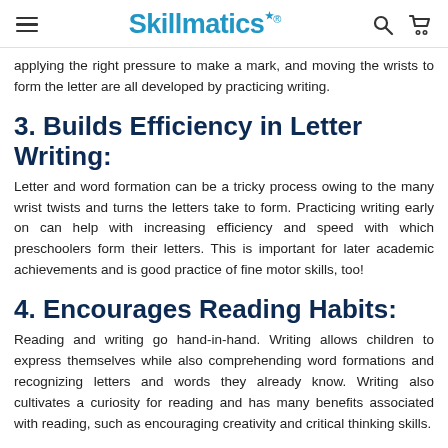Skillmatics
applying the right pressure to make a mark, and moving the wrists to form the letter are all developed by practicing writing.
3. Builds Efficiency in Letter Writing:
Letter and word formation can be a tricky process owing to the many wrist twists and turns the letters take to form. Practicing writing early on can help with increasing efficiency and speed with which preschoolers form their letters. This is important for later academic achievements and is good practice of fine motor skills, too!
4. Encourages Reading Habits:
Reading and writing go hand-in-hand. Writing allows children to express themselves while also comprehending word formations and recognizing letters and words they already know. Writing also cultivates a curiosity for reading and has many benefits associated with reading, such as encouraging creativity and critical thinking skills.